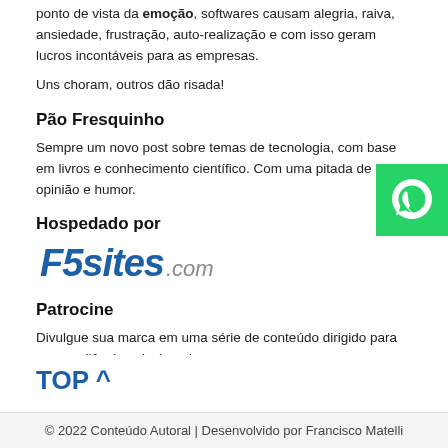ponto de vista da emoção, softwares causam alegria, raiva, ansiedade, frustração, auto-realização e com isso geram lucros incontáveis para as empresas.
Uns choram, outros dão risada!
Pão Fresquinho
Sempre um novo post sobre temas de tecnologia, com base em livros e conhecimento científico. Com uma pitada de opinião e humor.
Hospedado por
[Figure (logo): F5sites.com logo in blue italic bold text]
[Figure (logo): WhatsApp green button icon]
Patrocine
Divulgue sua marca em uma série de conteúdo dirigido para uma audiência selecionada.
TOP ^
© 2022 Conteúdo Autoral | Desenvolvido por Francisco Matelli